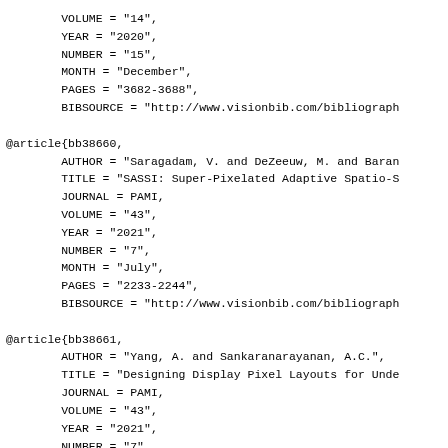VOLUME = "14",
  YEAR = "2020",
  NUMBER = "15",
  MONTH = "December",
  PAGES = "3682-3688",
  BIBSOURCE = "http://www.visionbib.com/bibliograph
@article{bb38660,
  AUTHOR = "Saragadam, V. and DeZeeuw, M. and Baran
  TITLE = "SASSI: Super-Pixelated Adaptive Spatio-S
  JOURNAL = PAMI,
  VOLUME = "43",
  YEAR = "2021",
  NUMBER = "7",
  MONTH = "July",
  PAGES = "2233-2244",
  BIBSOURCE = "http://www.visionbib.com/bibliograph
@article{bb38661,
  AUTHOR = "Yang, A. and Sankaranarayanan, A.C.",
  TITLE = "Designing Display Pixel Layouts for Unde
  JOURNAL = PAMI,
  VOLUME = "43",
  YEAR = "2021",
  NUMBER = "7",
  MONTH = "July",
  PAGES = "2245-2256",
  BIBSOURCE = "http://www.visionbib.com/bibliograph
@article{bb38662,